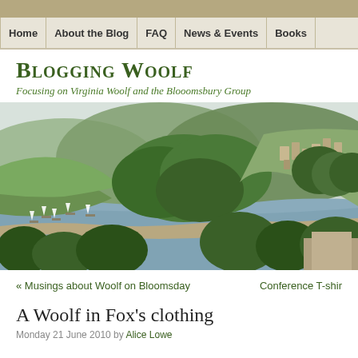Home | About the Blog | FAQ | News & Events | Books
Blogging Woolf
Focusing on Virginia Woolf and the Blooomsbury Group
[Figure (photo): Aerial view of a coastal estuary with sailboats on the water, green hillsides, and a town built on a hillside in the background]
« Musings about Woolf on Bloomsday    Conference T-shirt
A Woolf in Fox's clothing
Monday 21 June 2010 by Alice Lowe